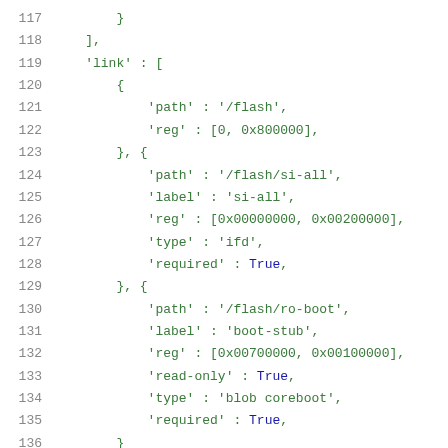[Figure (screenshot): Code listing showing lines 117-137 of a configuration file with JSON-like syntax. Green monospace text on white background with gray line numbers. Contains link path/reg/label/type/required fields for flash configuration.]